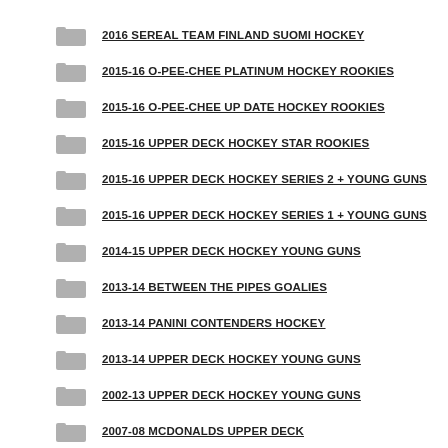2016 SEREAL TEAM FINLAND SUOMI HOCKEY
2015-16 O-PEE-CHEE PLATINUM HOCKEY ROOKIES
2015-16 O-PEE-CHEE UP DATE HOCKEY ROOKIES
2015-16 UPPER DECK HOCKEY STAR ROOKIES
2015-16 UPPER DECK HOCKEY SERIES 2 + YOUNG GUNS
2015-16 UPPER DECK HOCKEY SERIES 1 + YOUNG GUNS
2014-15 UPPER DECK HOCKEY YOUNG GUNS
2013-14 BETWEEN THE PIPES GOALIES
2013-14 PANINI CONTENDERS HOCKEY
2013-14 UPPER DECK HOCKEY YOUNG GUNS
2002-13 UPPER DECK HOCKEY YOUNG GUNS
2007-08 MCDONALDS UPPER DECK
2007-08 SP AUTHENTIC HOCKEY